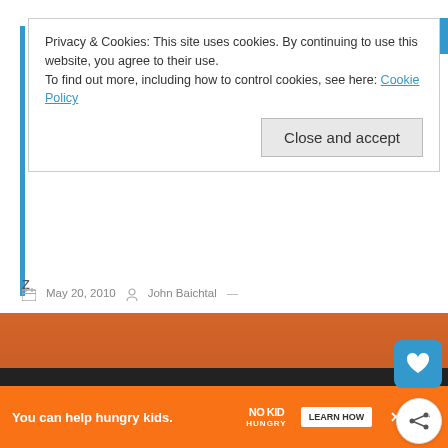Privacy & Cookies: This site uses cookies. By continuing to use this website, you agree to their use.
To find out more, including how to control cookies, see here: Cookie Policy
Close and accept
[Figure (other): Broken image placeholder with alt text 'Suicide Squad #40 cover']
Review – Suicide Squad #40: Waller Vs. Hack
April 26, 2018  Ray Goldfield —
Doctor Popular Kicks it Old School
April 2, 2010  Z —
AFFILIATE LINKS
May 20, 2010  John Baichtal —
[Figure (infographic): Orange advertisement banner: 'You can help hungry kids. NO KID HUNGRY LEARN HOW' with close button and site logo]